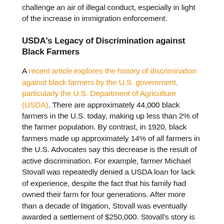challenge an air of illegal conduct, especially in light of the increase in immigration enforcement.
USDA's Legacy of Discrimination against Black Farmers
A recent article explores the history of discrimination against black farmers by the U.S. government, particularly the U.S. Department of Agriculture (USDA). There are approximately 44,000 black farmers in the U.S. today, making up less than 2% of the farmer population. By contrast, in 1920, black farmers made up approximately 14% of all farmers in the U.S. Advocates say this decrease is the result of active discrimination. For example, farmer Michael Stovall was repeatedly denied a USDA loan for lack of experience, despite the fact that his family had owned their farm for four generations. After more than a decade of litigation, Stovall was eventually awarded a settlement of $250,000. Stovall's story is not unique. A class action brought against the USDA in 1999, Pigford v. Glickman, alleged racial discrimination and eventually resulted in payouts to over 80,000 individuals totaling more than a billion dollars. Currently, two of the